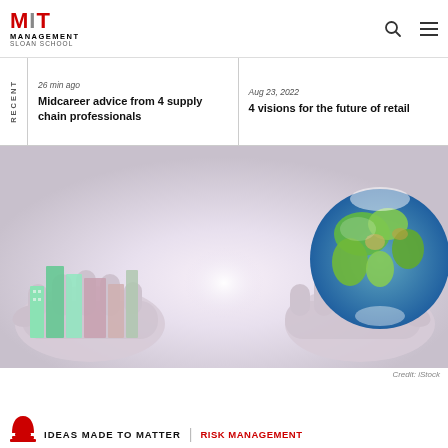MIT Management Sloan School
26 min ago
Midcareer advice from 4 supply chain professionals
Aug 23, 2022
4 visions for the future of retail
[Figure (photo): Two hands holding a city skyline (left, tinted green/pink) and a globe (right), with a white glowing light between them, on a light purple background]
Credit: iStock
IDEAS MADE TO MATTER  |  RISK MANAGEMENT